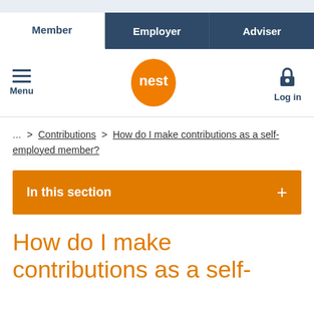Member | Employer | Adviser
[Figure (logo): Nest pension logo - orange oval with white 'nest' text]
... > Contributions > How do I make contributions as a self-employed member?
In this section +
How do I make contributions as a self-